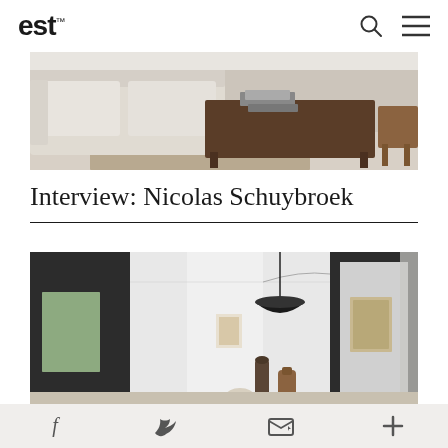est
[Figure (photo): Interior living room photo showing a light beige sofa, a dark rustic wooden coffee table with books on it, and a wooden side table. Neutral tones with a fur/jute rug.]
Interview: Nicolas Schuybroek
[Figure (photo): Interior architectural photo showing a minimalist white room with dark accent walls, a window with green foliage visible outside, a black pendant lamp, decorative vases, a framed artwork, and sheer curtains on the right.]
f  Twitter  Email  +